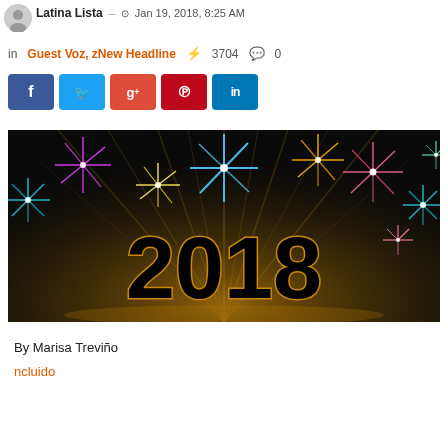Latina Lista — Jan 19, 2018, 8:25 AM
in Guest Voz, zNew Headline ⚡ 3704 💬 0
[Figure (other): Social share buttons: Facebook, Twitter, Google+, Pinterest, LinkedIn]
[Figure (photo): New Year 2018 fireworks celebration image with large '2018' text on dark background with colorful fireworks bursts]
By Marisa Treviño
ncluido